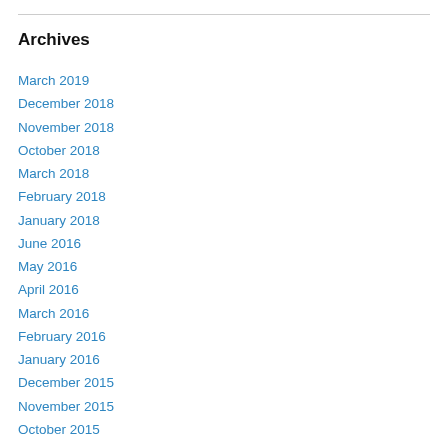Archives
March 2019
December 2018
November 2018
October 2018
March 2018
February 2018
January 2018
June 2016
May 2016
April 2016
March 2016
February 2016
January 2016
December 2015
November 2015
October 2015
September 2015